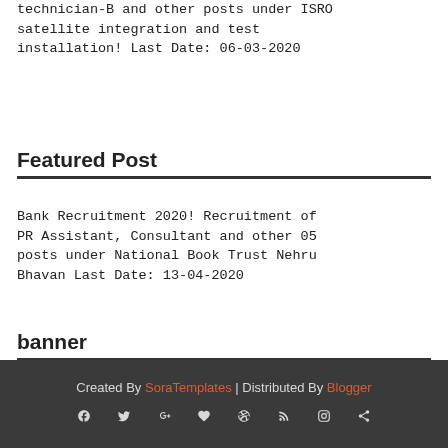technician-B and other posts under ISRO satellite integration and test installation! Last Date: 06-03-2020
Featured Post
Bank Recruitment 2020! Recruitment of PR Assistant, Consultant and other 05 posts under National Book Trust Nehru Bhavan Last Date: 13-04-2020
banner
Created By SoraTemplates | Distributed By Blogger